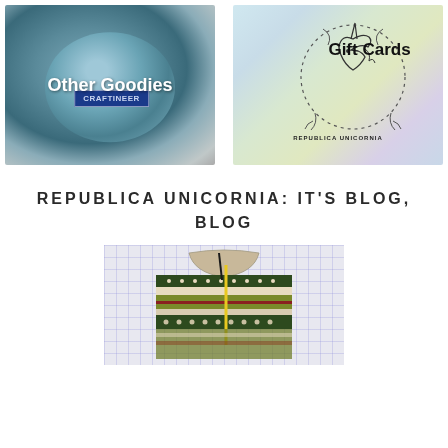[Figure (photo): Two product images side by side: left shows a blue ceramic bowl with a Craftineer label, overlaid with text 'Other Goodies'; right shows a Republica Unicornia logo with a unicorn in a wreath circle on a pastel background, overlaid with text 'Gift Cards' and 'REPUBLICA UNICORNIA']
REPUBLICA UNICORNIA: IT'S BLOG, BLOG
[Figure (photo): A colorful Fair Isle or Nordic-style knitted sweater in progress, laid on graph paper background, with a yellow measuring tape visible]